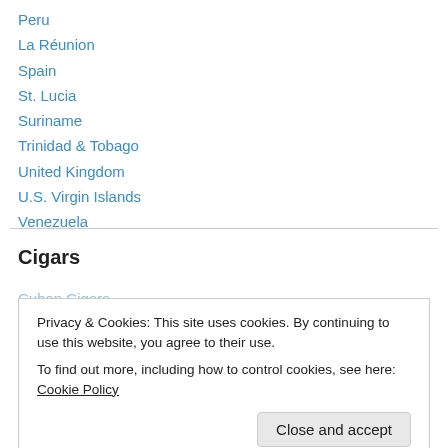Peru
La Réunion
Spain
St. Lucia
Suriname
Trinidad & Tobago
United Kingdom
U.S. Virgin Islands
Venezuela
Cigars
Cuban Cigars
Privacy & Cookies: This site uses cookies. By continuing to use this website, you agree to their use.
To find out more, including how to control cookies, see here: Cookie Policy
Montecristo